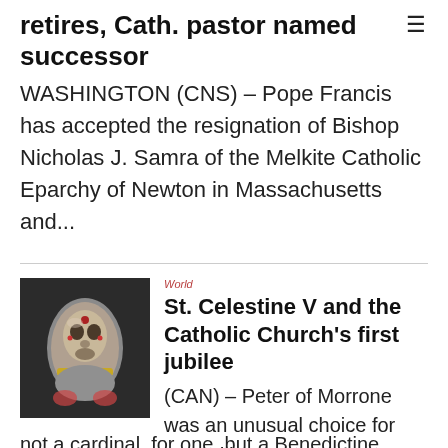[Figure (other): Hamburger menu icon (three horizontal lines) in top right corner]
retires, Cath. pastor named successor
WASHINGTON (CNS) -- Pope Francis has accepted the resignation of Bishop Nicholas J. Samra of the Melkite Catholic Eparchy of Newton in Massachusetts and...
[Figure (photo): Close-up photograph of what appears to be a silver or metallic religious artifact or reliquary, with reddish/golden details, held or displayed against a dark background]
World
St. Celestine V and the Catholic Church's first jubilee
(CAN) -- Peter of Morrone was an unusual choice for pope. He was not a cardinal, for one, but a Benedictine monk and hermit living in a remote mountainous...